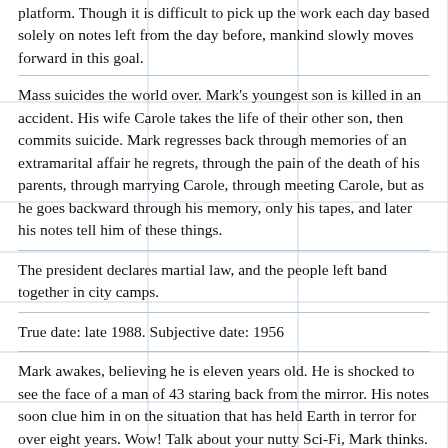platform. Though it is difficult to pick up the work each day based solely on notes left from the day before, mankind slowly moves forward in this goal.
Mass suicides the world over. Mark's youngest son is killed in an accident. His wife Carole takes the life of their other son, then commits suicide. Mark regresses back through memories of an extramarital affair he regrets, through the pain of the death of his parents, through marrying Carole, through meeting Carole, but as he goes backward through his memory, only his tapes, and later his notes tell him of these things.
The president declares martial law, and the people left band together in city camps.
True date: late 1988. Subjective date: 1956
Mark awakes, believing he is eleven years old. He is shocked to see the face of a man of 43 staring back from the mirror. His notes soon clue him in on the situation that has held Earth in terror for over eight years. Wow! Talk about your nutty Sci-Fi, Mark thinks.
September 5, 1988
At ten minutes to 1:00 a. m., the warheads should strike the Ball. All hope it won't dodge out of the way, but the scientists still able